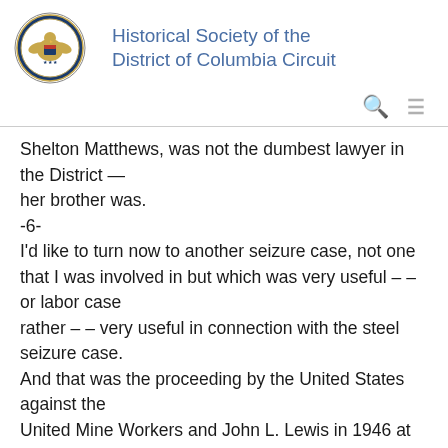Historical Society of the District of Columbia Circuit
Shelton Matthews, was not the dumbest lawyer in the District —
her brother was.
-6-
I'd like to turn now to another seizure case, not one that I was involved in but which was very useful – – or labor case
rather – – very useful in connection with the steel seizure case.
And that was the proceeding by the United States against the
United Mine Workers and John L. Lewis in 1946 at the tag end of